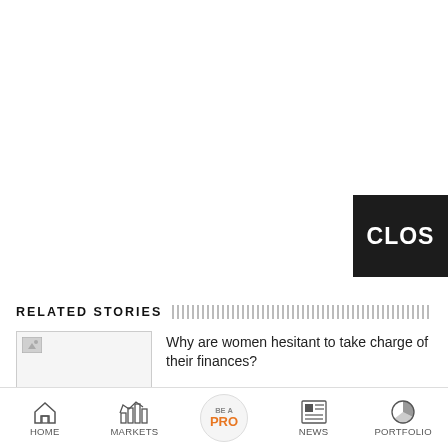[Figure (screenshot): Dark black close button with text 'CLOS' (CLOSE) visible, partial view]
RELATED STORIES
[Figure (photo): Thumbnail image placeholder for related story]
Why are women hesitant to take charge of their finances?
Oil slides more than $7 on inflation and Iraq
IndiGo CEO Ronojoy Dutta agrees to 2-year
[Figure (screenshot): Bottom navigation bar with HOME, MARKETS, BE A PRO, NEWS, PORTFOLIO icons]